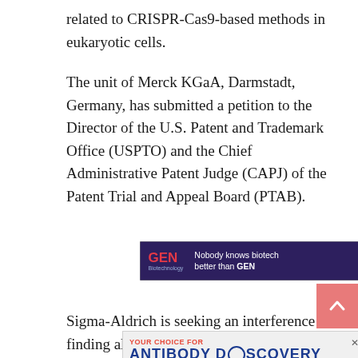related to CRISPR-Cas9-based methods in eukaryotic cells.
The unit of Merck KGaA, Darmstadt, Germany, has submitted a petition to the Director of the U.S. Patent and Trademark Office (USPTO) and the Chief Administrative Patent Judge (CAPJ) of the Patent Trial and Appeal Board (PTAB).
[Figure (other): GEN Biotechnology advertisement banner: 'Nobody knows biotech better than GEN' with a LEARN MORE button on a dark purple background]
Sigma-Aldrich is seeking an interference finding along the lines of the interference declared last month by the PTAB between 10 separate U.S. patent
[Figure (other): WuXi Biologics antibody discovery advertisement overlay with text 'YOUR CHOICE FOR ANTIBODY DISCOVERY']